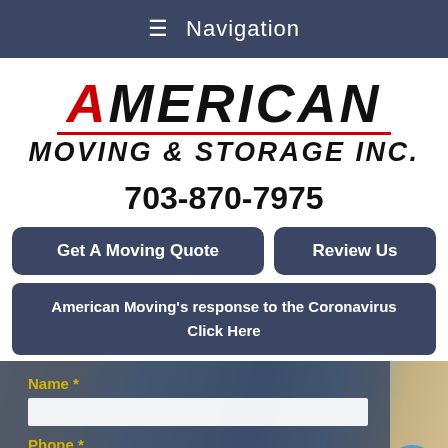≡ Navigation
AMERICAN MOVING & STORAGE INC.
703-870-7975
Get A Moving Quote
Review Us
American Moving's response to the Coronavirus Click Here
Name *
Phone *